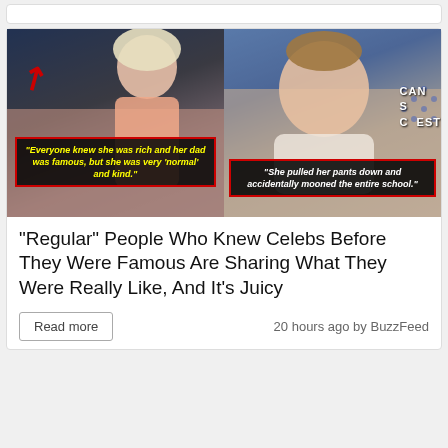[Figure (photo): Screenshot of a news article card from BuzzFeed. Left half shows a blonde person in a pink dress with a red arrow and yellow text quote box reading: 'Everyone knew she was rich and her dad was famous, but she was very normal and kind.' Right half shows a person at an American event with text quote: 'She pulled her pants down and accidentally mooned the entire school.']
"Regular" People Who Knew Celebs Before They Were Famous Are Sharing What They Were Really Like, And It's Juicy
Read more
20 hours ago by BuzzFeed